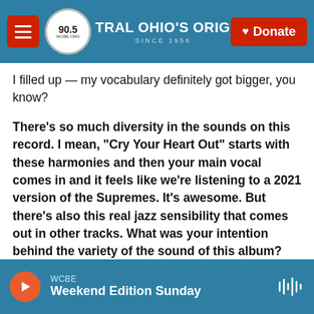90.5 WCBE — CENTRAL OHIO'S ORIGINAL NPR STATION SINCE 1956 — Donate
I filled up — my vocabulary definitely got bigger, you know?
There's so much diversity in the sounds on this record. I mean, "Cry Your Heart Out" starts with these harmonies and then your main vocal comes in and it feels like we're listening to a 2021 version of the Supremes. It's awesome. But there's also this real jazz sensibility that comes out in other tracks. What was your intention behind the variety of the sound of this album?
Well, I've never really been conscious [of having] a
WCBE — Weekend Edition Sunday